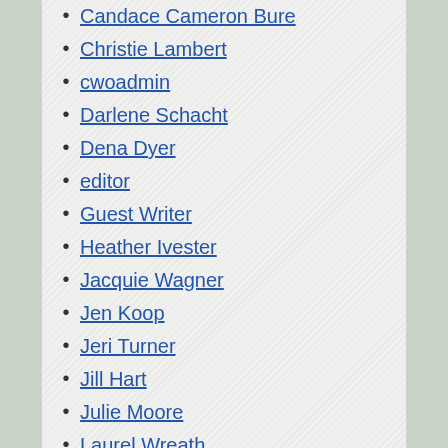Candace Cameron Bure
Christie Lambert
cwoadmin
Darlene Schacht
Dena Dyer
editor
Guest Writer
Heather Ivester
Jacquie Wagner
Jen Koop
Jeri Turner
Jill Hart
Julie Moore
Laurel Wreath
Lisa McKay
Marybeth Whalen
Melissa Michaels
Mick Silva
Nicole Querido